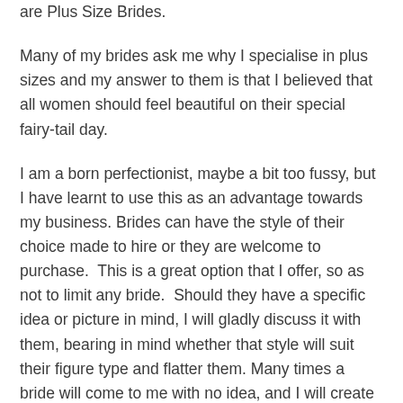are Plus Size Brides.
Many of my brides ask me why I specialise in plus sizes and my answer to them is that I believed that all women should feel beautiful on their special fairy-tail day.
I am a born perfectionist, maybe a bit too fussy, but I have learnt to use this as an advantage towards my business. Brides can have the style of their choice made to hire or they are welcome to purchase.  This is a great option that I offer, so as not to limit any bride.  Should they have a specific idea or picture in mind, I will gladly discuss it with them, bearing in mind whether that style will suit their figure type and flatter them. Many times a bride will come to me with no idea, and I will create a perfect wedding gown for them and of course give them that wonderful option to hire, if purchasing is not within their budget.  I try to make sure that everyone of my clients are satisfied with my services.  I will never allow a